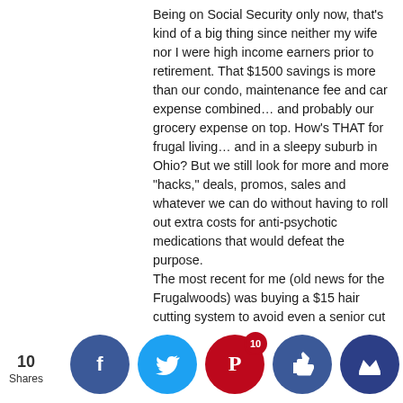Being on Social Security only now, that's kind of a big thing since neither my wife nor I were high income earners prior to retirement. That $1500 savings is more than our condo, maintenance fee and car expense combined… and probably our grocery expense on top. How's THAT for frugal living… and in a sleepy suburb in Ohio? But we still look for more and more "hacks," deals, promos, sales and whatever we can do without having to roll out extra costs for anti-psychotic medications that would defeat the purpose. The most recent for me (old news for the Frugalwoods) was buying a $15 hair cutting system to avoid even a senior cut plus tip cost ($12?) every time I start looking like a Chia Pet. How badly can my wife mess up a near bald cranium? We'll find out tomorrow. I've been dying my wife's hair for well over a decade and she's yet to complain and while I can't cut her hair because of having tremors, professional stylists have complimented her on the dye jobs. But again, that's another "little thing" that adds to an enormous list of entries on my LOL list (abbreviation fo... On Le... by-pas... whole... e online w... Paper ...azis a... "frug... ho us...
10 Shares — social share buttons: Facebook, Twitter, Pinterest (10), Like, Crown